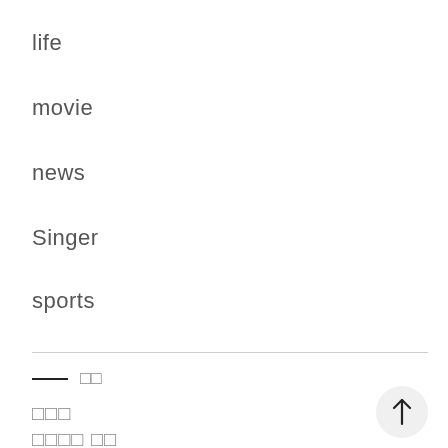life
movie
news
Singer
sports
□□
□□□
□□□□ □□
□□ □□